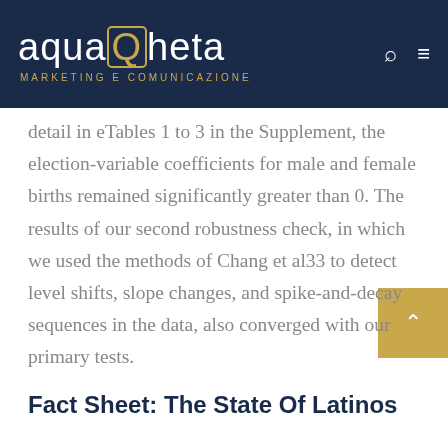aquaQheta MARKETING E COMUNICAZIONE
detail in eTables 1 to 3 in the Supplement, the election-variable coefficients for male and female births remained significantly greater than 0. The results of our second robustness check, in which we used the methods of Chang et al33 to detect level shifts, slope changes, and spike-and-decay sequences in the data, also converged with our primary tests.
Fact Sheet: The State Of Latinos